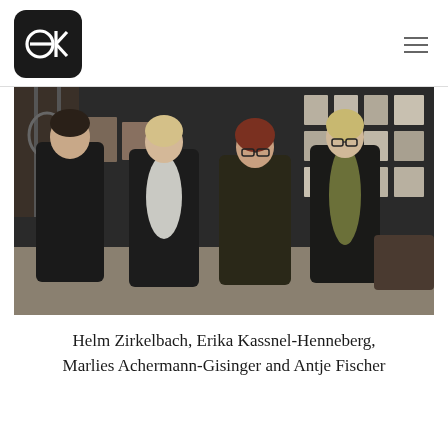ek logo and navigation
[Figure (photo): Four people standing together in a gallery or exhibition space. From left: a man in black, a blonde woman with a white scarf, a woman with red-auburn hair and glasses in a dark jacket, and a woman with short blonde hair and glasses wearing an olive/green scarf. Artwork displayed on the wall behind them.]
Helm Zirkelbach, Erika Kassnel-Henneberg, Marlies Achermann-Gisinger and Antje Fischer